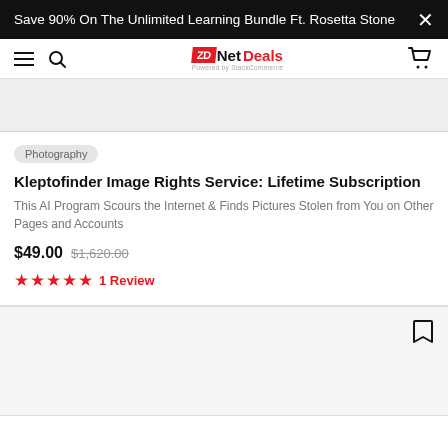Save 90% On The Unlimited Learning Bundle Ft. Rosetta Stone
[Figure (screenshot): ZDNet Deals website navigation bar with hamburger menu, search icon, ZDNet Deals logo, and cart icon]
Photography
Kleptofinder Image Rights Service: Lifetime Subscription
This AI Program Scours the Internet & Finds Pictures Stolen from You on Other Pages and Accounts
$49.00  $1,620.00
★★★★★  1 Review